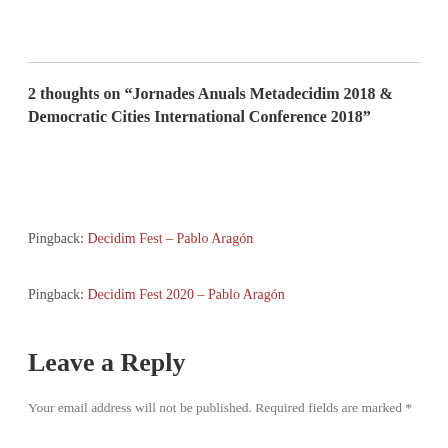2 thoughts on “Jornades Anuals Metadecidim 2018 & Democratic Cities International Conference 2018”
Pingback: Decidim Fest – Pablo Aragón
Pingback: Decidim Fest 2020 – Pablo Aragón
Leave a Reply
Your email address will not be published. Required fields are marked *